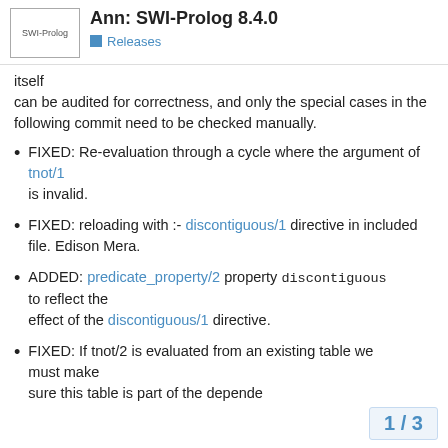Ann: SWI-Prolog 8.4.0 | Releases
itself can be audited for correctness, and only the special cases in the following commit need to be checked manually.
FIXED: Re-evaluation through a cycle where the argument of tnot/1 is invalid.
FIXED: reloading with :- discontiguous/1 directive in included file. Edison Mera.
ADDED: predicate_property/2 property discontiguous to reflect the effect of the discontiguous/1 directive.
FIXED: If tnot/2 is evaluated from an existing table we must make sure this table is part of the depende
1 / 3